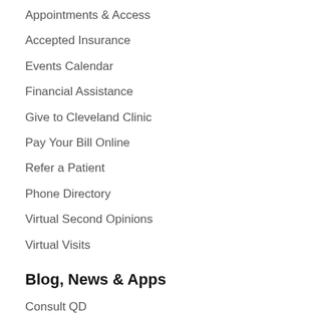Appointments & Access
Accepted Insurance
Events Calendar
Financial Assistance
Give to Cleveland Clinic
Pay Your Bill Online
Refer a Patient
Phone Directory
Virtual Second Opinions
Virtual Visits
Blog, News & Apps
Consult QD
Ad
Take charge of your health. Get the latest news from Health Essentials Sign Up